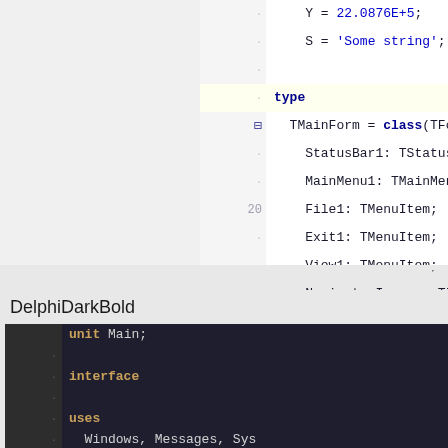[Figure (screenshot): Delphi IDE code editor (light theme) showing Pascal source code with type declaration. Lines visible include Y = 22.0876E+5, S = 'Some string', type keyword highlighted, TMainForm = class(TForm), StatusBar1: TStatusBar, MainMenu1: TMainMenu, File1: TMenuItem, Exit1: TMenuItem, View1: TMenuItem, NavigatorImages: TImageList, NavigatorHotImages:. Line number 20 visible. Horizontal scrollbar at bottom.]
DelphiDarkBold
[Figure (screenshot): Delphi IDE code editor (dark theme) showing Pascal source code. Lines visible: unit Main; interface uses Windows, Messages, SysUtils, StdCtrls, ExtCtrls, Menus, ActnList, ImgList, sho... Line number 1 visible.]